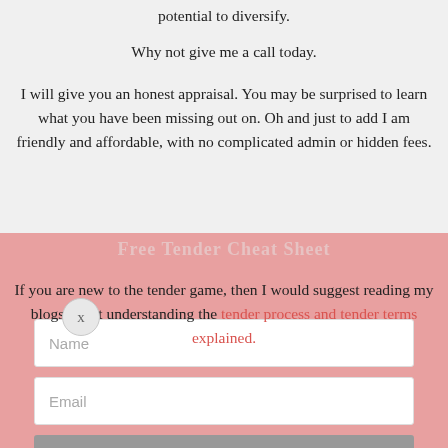potential to diversify.
Why not give me a call today.
I will give you an honest appraisal. You may be surprised to learn what you have been missing out on. Oh and just to add I am friendly and affordable, with no complicated admin or hidden fees.
If you are new to the tender game, then I would suggest reading my blogs about understanding the tender process and tender terms explained.
[Figure (screenshot): Modal popup overlay with pink/red background containing a form with Name and Email input fields and a submit button, with a close X button and a watermark title 'Free Tender Cheat Sheet']